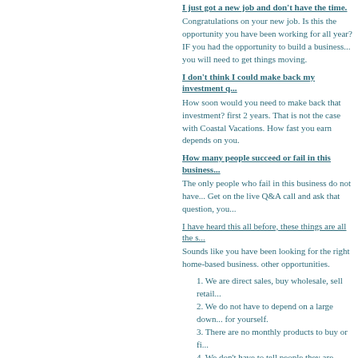I just got a new job and don't have the time.
Congratulations on your new job. Is this the opportu... year? IF you had the opportunity to build a business... you will need to get things moving.
I don't think I could make back my investment q...
How soon would you need to make back that invest... first 2 years. That is not the case with Coastal Vacati... How fast you earn depends on you.
How many people succeed or fail in this business...
The only people who fail in this business do not hav... Get on the live Q&A call and ask that question, you...
I have heard this all before, these things are all the s...
Sounds like you have been looking for the right hom... other opportunities.
1. We are direct sales, buy wholesale, sell reta...
2. We do not have to depend on a large down... for yourself.
3. There are no monthly products to buy or fi...
4. We don't have to tell people they are overw... AND share it with their family and friends.
5. The lowest commission we EVER make is... comes even close to Coastal vacations, our...
I am skeptical because I have been burnt in the p...
That is exactly why I am asking you to follow the pr... are saying about Coastal. There are no questions tha... not started in any way. There is a short presentation...